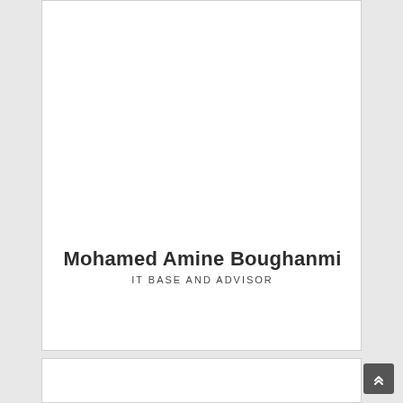Mohamed Amine Boughanmi
IT BASE AND ADVISOR